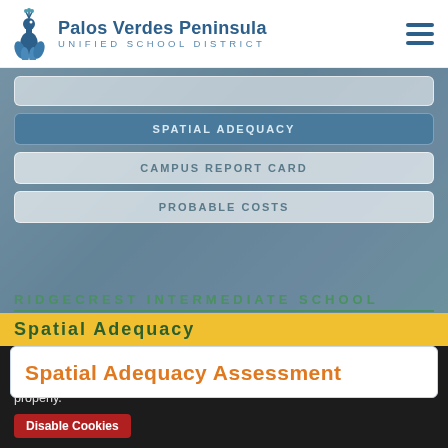Palos Verdes Peninsula Unified School District
SPATIAL ADEQUACY
CAMPUS REPORT CARD
PROBABLE COSTS
RIDGECREST INTERMEDIATE SCHOOL
Spatial Adequacy
Spatial Adequacy Assessment
This site uses cookies for a better experience. You can disable cookies, but some elements may not function properly.
I Understand
Disable Cookies